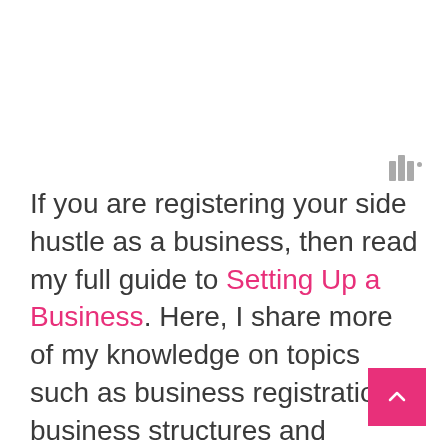[Figure (logo): Three vertical bars with a small dot, resembling a stylized logo in grey]
If you are registering your side hustle as a business, then read my full guide to Setting Up a Business. Here, I share more of my knowledge on topics such as business registration, business structures and invoicing to help you set up correctly.
[Figure (other): Pink scroll-to-top button with upward chevron arrow]